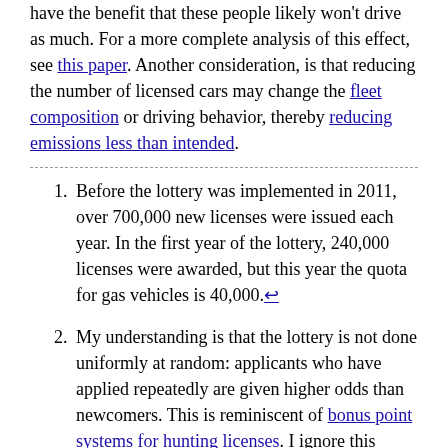have the benefit that these people likely won't drive as much. For a more complete analysis of this effect, see this paper. Another consideration, is that reducing the number of licensed cars may change the fleet composition or driving behavior, thereby reducing emissions less than intended.
Before the lottery was implemented in 2011, over 700,000 new licenses were issued each year. In the first year of the lottery, 240,000 licenses were awarded, but this year the quota for gas vehicles is 40,000.↩
My understanding is that the lottery is not done uniformly at random: applicants who have applied repeatedly are given higher odds than newcomers. This is reminiscent of bonus point systems for hunting licenses. I ignore this feature in the analysis